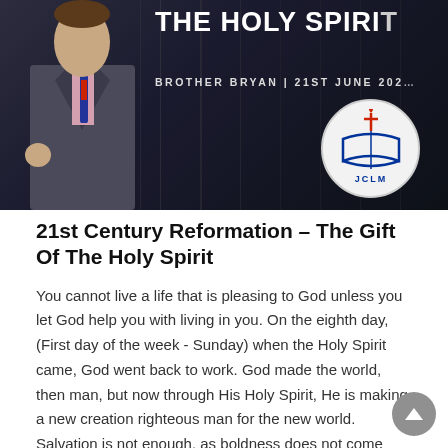[Figure (photo): Banner image showing a man in a dark suit with a striped tie, standing against a dark background. Overlay text reads 'THE HOLY SPIRIT' in large white letters and 'BROTHER BRYAN | 21ST JUNE 202' below. A circular JCLM logo (showing an open Bible with a cross and flame) is visible in the lower right of the image.]
21st Century Reformation – The Gift Of The Holy Spirit
You cannot live a life that is pleasing to God unless you let God help you with living in you. On the eighth day, (First day of the week - Sunday) when the Holy Spirit came, God went back to work. God made the world, then man, but now through His Holy Spirit, He is making a new creation righteous man for the new world. Salvation is not enough, as boldness does not come without being filled